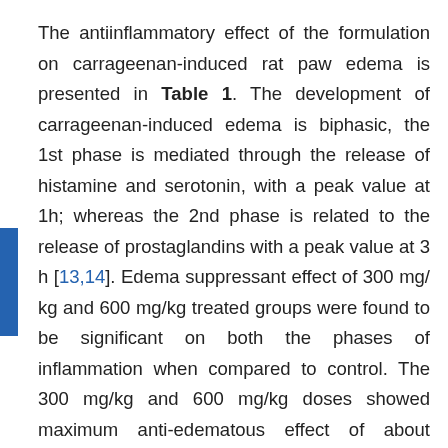The antiinflammatory effect of the formulation on carrageenan-induced rat paw edema is presented in Table 1. The development of carrageenan-induced edema is biphasic, the 1st phase is mediated through the release of histamine and serotonin, with a peak value at 1h; whereas the 2nd phase is related to the release of prostaglandins with a peak value at 3 h [13,14]. Edema suppressant effect of 300 mg/ kg and 600 mg/kg treated groups were found to be significant on both the phases of inflammation when compared to control. The 300 mg/kg and 600 mg/kg doses showed maximum anti-edematous effect of about 51.61% and 54.84%, respectively at 3 h after carrageenan administration which was found to be